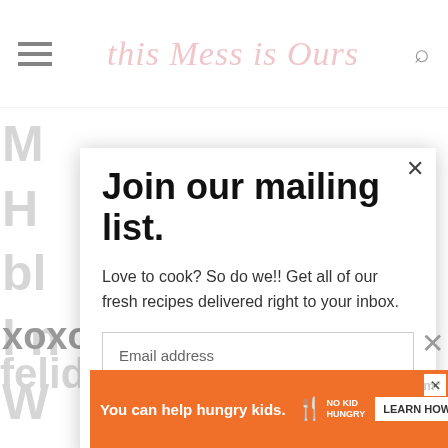this Mess is ours
[Figure (screenshot): Website screenshot of 'This Mess Is Ours' food blog with a mailing list signup modal overlay. The modal has a black X close button, bold title 'Join our mailing list.', descriptive text, an email address input field, and a black Subscribe button. Background shows partially visible page content in grey. Bottom shows an orange 'No Kid Hungry' advertisement banner with LEARN HOW button.]
Join our mailing list.
Love to cook? So do we!! Get all of our fresh recipes delivered right to your inbox.
Email address
Subscribe
You can help hungry kids.
LEARN HOW